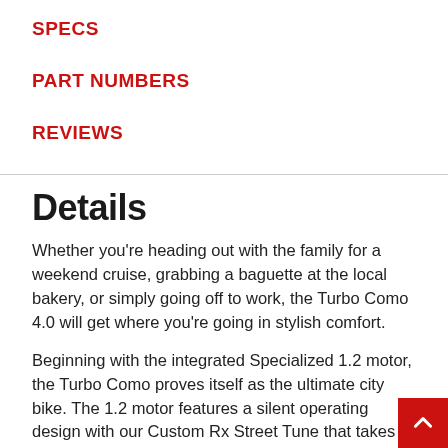SPECS
PART NUMBERS
REVIEWS
Details
Whether you're heading out with the family for a weekend cruise, grabbing a baguette at the local bakery, or simply going off to work, the Turbo Como 4.0 will get where you're going in stylish comfort.
Beginning with the integrated Specialized 1.2 motor, the Turbo Como proves itself as the ultimate city bike. The 1.2 motor features a silent operating design with our Custom Rx Street Tune that takes the output and makes it the most usable for an urban environment. Think of it this way: the more power you put out, the more power the motor puts